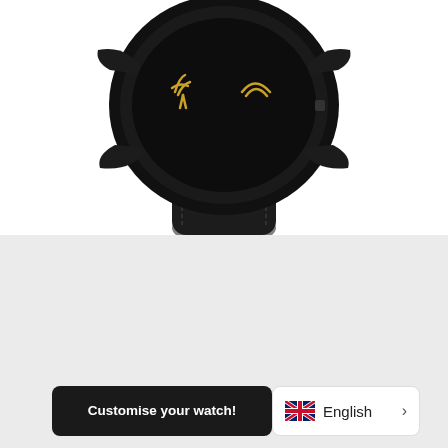[Figure (photo): Close-up photo of a black watch with a black leather strap and a dark dial featuring gold crane motifs, photographed from above against a white background.]
Paper Crane
€335
Customise your watch!
English